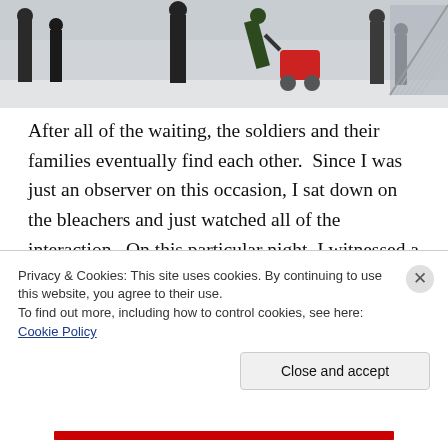[Figure (photo): A photograph showing soldiers and families in what appears to be an airport or large indoor facility. A woman in black holding a baby is visible in the foreground along with other people and a stroller.]
After all of the waiting, the soldiers and their families eventually find each other.  Since I was just an observer on this occasion, I sat down on the bleachers and just watched all of the interaction.  On this particular night, I witnessed a small example of the suffering that our soldiers can experience.  In the foreground of the above photo, there is a woman dressed in black holding a baby.  She is waiting for her soldier to find her and he does.  His
Privacy & Cookies: This site uses cookies. By continuing to use this website, you agree to their use.
To find out more, including how to control cookies, see here: Cookie Policy
Close and accept